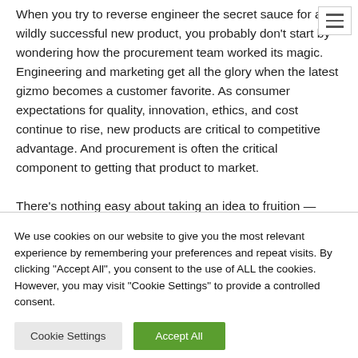When you try to reverse engineer the secret sauce for a wildly successful new product, you probably don't start by wondering how the procurement team worked its magic. Engineering and marketing get all the glory when the latest gizmo becomes a customer favorite. As consumer expectations for quality, innovation, ethics, and cost continue to rise, new products are critical to competitive advantage. And procurement is often the critical component to getting that product to market.

There's nothing easy about taking an idea to fruition —
We use cookies on our website to give you the most relevant experience by remembering your preferences and repeat visits. By clicking "Accept All", you consent to the use of ALL the cookies. However, you may visit "Cookie Settings" to provide a controlled consent.